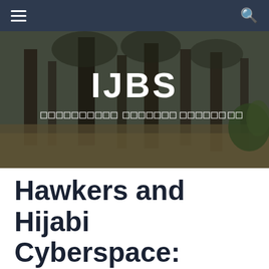IJBS navigation bar with hamburger menu and search icon
[Figure (photo): Hero banner with background photo of trees/forest in muted browns and greens with IJBS title and subtitle in Arabic/decorative script overlaid in white text]
Hawkers and Hijabi Cyberspace: Muslim Women's Labor